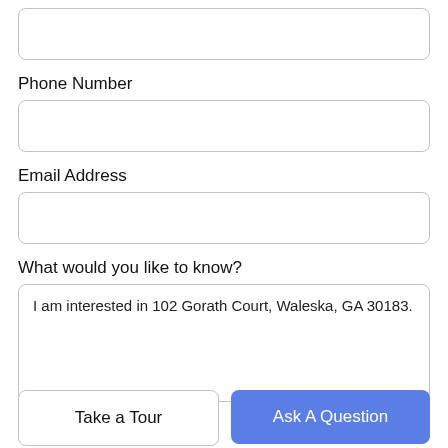[Figure (screenshot): Empty input field at the top of the form (partially visible, cut off at top)]
Phone Number
[Figure (screenshot): Phone Number input field]
Email Address
[Figure (screenshot): Email Address input field]
What would you like to know?
[Figure (screenshot): Textarea with pre-filled text: I am interested in 102 Gorath Court, Waleska, GA 30183.]
Take a Tour
Ask A Question